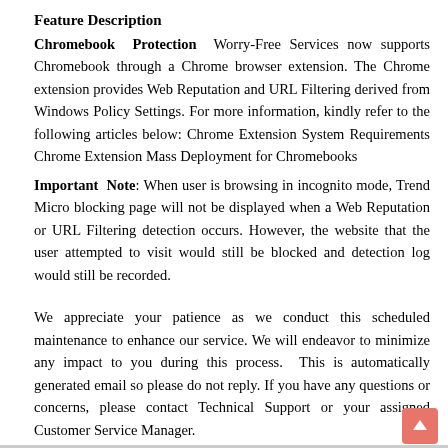Feature Description
Chromebook Protection  Worry-Free Services now supports Chromebook through a Chrome browser extension. The Chrome extension provides Web Reputation and URL Filtering derived from Windows Policy Settings. For more information, kindly refer to the following articles below: Chrome Extension System Requirements Chrome Extension Mass Deployment for Chromebooks
Important Note: When user is browsing in incognito mode, Trend Micro blocking page will not be displayed when a Web Reputation or URL Filtering detection occurs. However, the website that the user attempted to visit would still be blocked and detection log would still be recorded.
We appreciate your patience as we conduct this scheduled maintenance to enhance our service. We will endeavor to minimize any impact to you during this process.  This is automatically generated email so please do not reply. If you have any questions or concerns, please contact Technical Support or your assigned Customer Service Manager.